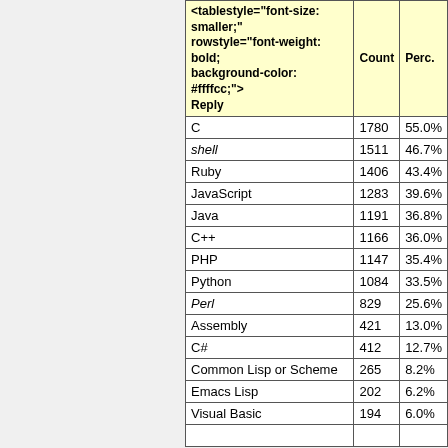| <tablestyle="font-size: smaller;" rowstyle="font-weight: bold; background-color: #ffffcc;"> Reply | Count | Perc. |
| --- | --- | --- |
| C | 1780 | 55.0% |
| shell | 1511 | 46.7% |
| Ruby | 1406 | 43.4% |
| JavaScript | 1283 | 39.6% |
| Java | 1191 | 36.8% |
| C++ | 1166 | 36.0% |
| PHP | 1147 | 35.4% |
| Python | 1084 | 33.5% |
| Perl | 829 | 25.6% |
| Assembly | 421 | 13.0% |
| C# | 412 | 12.7% |
| Common Lisp or Scheme | 265 | 8.2% |
| Emacs Lisp | 202 | 6.2% |
| Visual Basic | 194 | 6.0% |